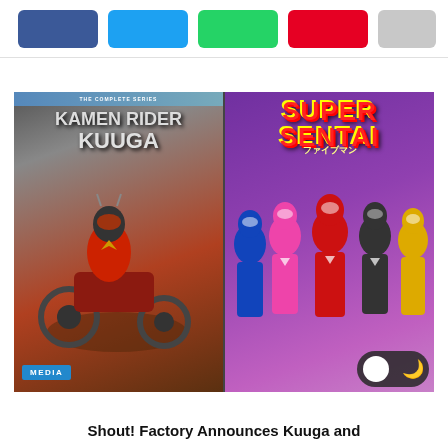Social share buttons: Facebook, Twitter, WhatsApp, Pinterest, More
[Figure (photo): Side-by-side composite image: left half shows Kamen Rider Kuuga The Complete Series Blu-ray cover with a masked rider on a motorcycle against an orange/red background, with a MEDIA badge in lower left; right half shows Super Sentai (Fiveman) DVD/VHS cover with colorful sentai warriors on a purple background, and a dark mode toggle in the lower right corner.]
Shout! Factory Announces Kuuga and